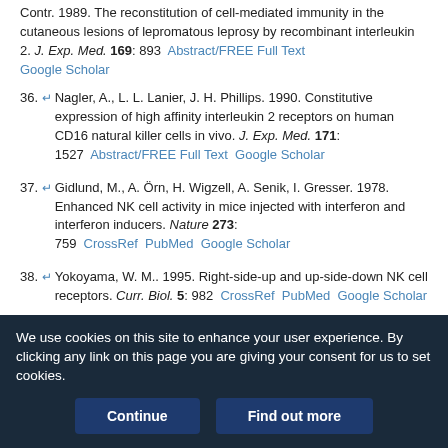Contr. 1989. The reconstitution of cell-mediated immunity in the cutaneous lesions of lepromatous leprosy by recombinant interleukin 2. J. Exp. Med. 169: 893  Abstract/FREE Full Text  Google Scholar
36. Nagler, A., L. L. Lanier, J. H. Phillips. 1990. Constitutive expression of high affinity interleukin 2 receptors on human CD16 natural killer cells in vivo. J. Exp. Med. 171: 1527  Abstract/FREE Full Text  Google Scholar
37. Gidlund, M., A. Örn, H. Wigzell, A. Senik, I. Gresser. 1978. Enhanced NK cell activity in mice injected with interferon and interferon inducers. Nature 273: 759  CrossRef  PubMed  Google Scholar
38. Yokoyama, W. M.. 1995. Right-side-up and up-side-down NK cell receptors. Curr. Biol. 5: 982  CrossRef  PubMed  Google Scholar
39. Trinchieri, G.. 1989. Biology of natural killer cells. Adv. Immunol. 47: 187  CrossRef  PubMed  Google Scholar
We use cookies on this site to enhance your user experience. By clicking any link on this page you are giving your consent for us to set cookies.